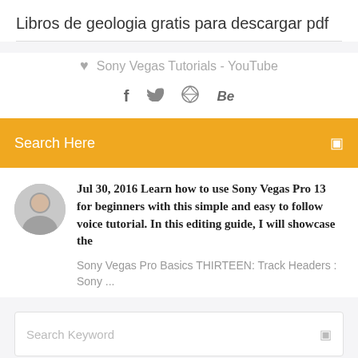Libros de geologia gratis para descargar pdf
Sony Vegas Tutorials - YouTube
[Figure (infographic): Social media icons row: Facebook (f), Twitter (bird), Dribbble (circle target), Behance (Be)]
Search Here
[Figure (photo): Circular avatar photo of a man]
Jul 30, 2016 Learn how to use Sony Vegas Pro 13 for beginners with this simple and easy to follow voice tutorial. In this editing guide, I will showcase the
Sony Vegas Pro Basics THIRTEEN: Track Headers : Sony ...
Search Keyword